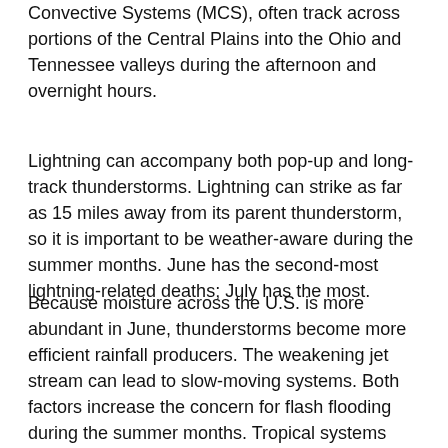Convective Systems (MCS), often track across portions of the Central Plains into the Ohio and Tennessee valleys during the afternoon and overnight hours.
Lightning can accompany both pop-up and long-track thunderstorms. Lightning can strike as far as 15 miles away from its parent thunderstorm, so it is important to be weather-aware during the summer months. June has the second-most lightning-related deaths; July has the most.
Because moisture across the U.S. is more abundant in June, thunderstorms become more efficient rainfall producers. The weakening jet stream can lead to slow-moving systems. Both factors increase the concern for flash flooding during the summer months. Tropical systems can also bring heavy rainfall and flooding.